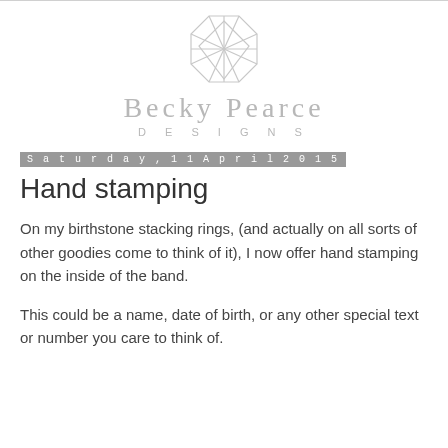[Figure (logo): Becky Pearce Designs geometric diamond logo with text 'Becky Pearce' and 'DESIGNS']
Saturday, 11 April 2015
Hand stamping
On my birthstone stacking rings, (and actually on all sorts of other goodies come to think of it), I now offer hand stamping on the inside of the band.
This could be a name, date of birth, or any other special text or number you care to think of.